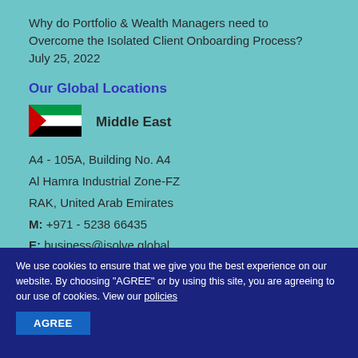Why do Portfolio & Wealth Managers need to Overcome the Isolated Client Onboarding Process?
July 25, 2022
Our Global Locations
[Figure (illustration): UAE flag icon (red, green, white, black horizontal stripes with red triangle on left)]
Middle East
A4 - 105A, Building No. A4
Al Hamra Industrial Zone-FZ
RAK, United Arab Emirates
M: +971 - 5238 66435
E: business@isolve.global
We use cookies to ensure that we give you the best experience on our website. By choosing "AGREE" or by using this site, you are agreeing to our use of cookies. View our policies
AGREE